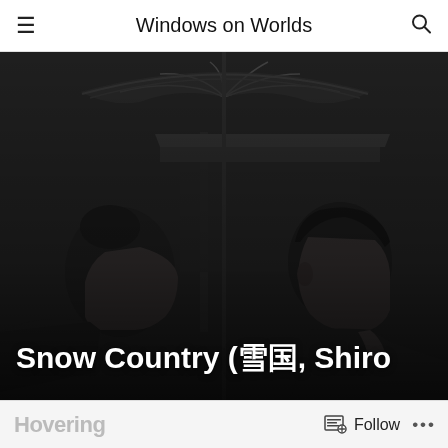Windows on Worlds
[Figure (photo): Black and white film still showing two people facing each other under a traditional Japanese umbrella (wagasa), with a building visible in the background. The scene appears to be from a Japanese film.]
Snow Country (雪国, Shiro
Follow ...